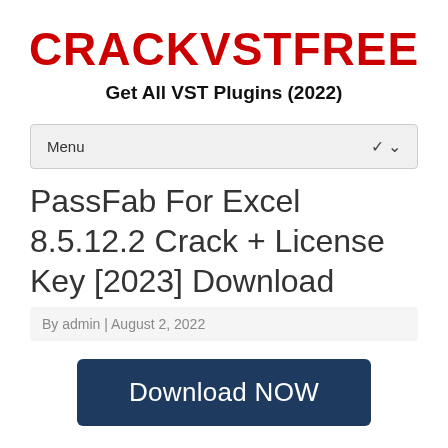CRACKVSTFREE
Get All VST Plugins (2022)
Menu
PassFab For Excel 8.5.12.2 Crack + License Key [2023] Download
By admin | August 2, 2022
Download NOW